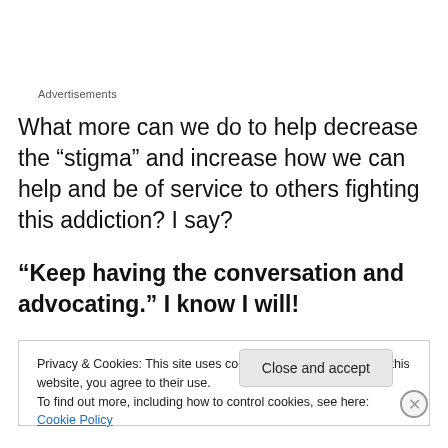Advertisements
What more can we do to help decrease the “stigma” and increase how we can help and be of service to others fighting this addiction? I say?
“Keep having the conversation and advocating.” I know I will!
Privacy & Cookies: This site uses cookies. By continuing to use this website, you agree to their use.
To find out more, including how to control cookies, see here: Cookie Policy
Close and accept